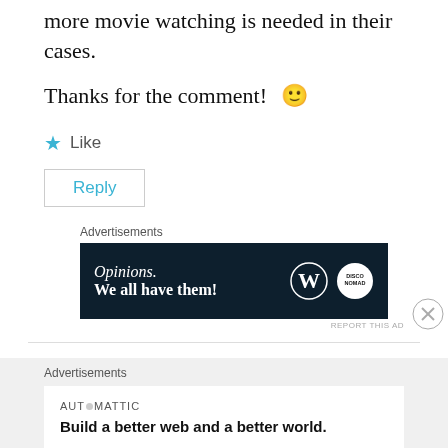more movie watching is needed in their cases.
Thanks for the comment! 🙂
★ Like
Reply
Advertisements
[Figure (other): WordPress advertisement banner: 'Opinions. We all have them!' with WordPress and Disco Nomad logos on dark navy background]
REPORT THIS AD
Advertisements
[Figure (other): Automattic advertisement: 'Build a better web and a better world.' on white background]